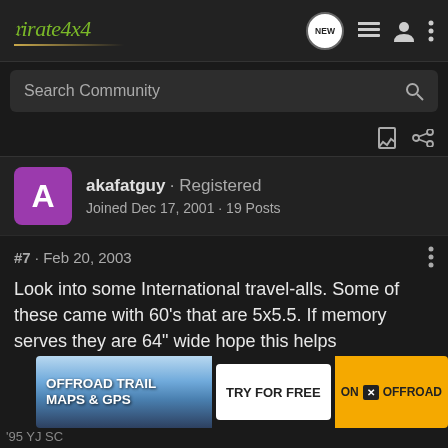Pirate4x4
Search Community
akafatguy · Registered
Joined Dec 17, 2001 · 19 Posts
#7 · Feb 20, 2003
Look into some International travel-alls. Some of these came with 60's that are 5x5.5. If memory serves they are 64" wide hope this helps
[Figure (screenshot): Advertisement banner for ON X OFFROAD app showing 'OFFROAD TRAIL MAPS & GPS' with 'TRY FOR FREE' and 'ON X OFFROAD' branding]
'95 YJ SC